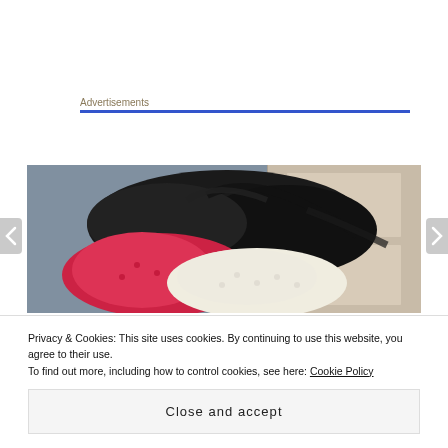Advertisements
[Figure (photo): A person with long dark hair lying down, wearing colorful clothing including pink/red and white textured fabric, photographed from above against a grey-blue door/wall background.]
Privacy & Cookies: This site uses cookies. By continuing to use this website, you agree to their use.
To find out more, including how to control cookies, see here: Cookie Policy
Close and accept